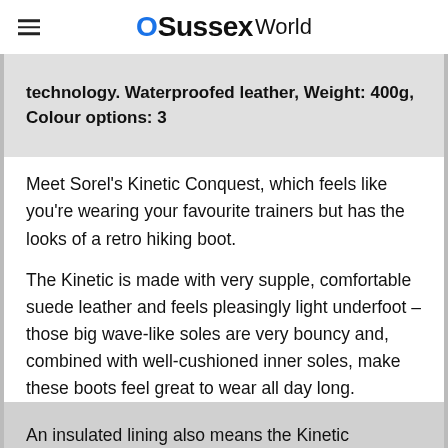OSussexWorld
technology. Waterproofed leather, Weight: 400g, Colour options: 3
Meet Sorel's Kinetic Conquest, which feels like you're wearing your favourite trainers but has the looks of a retro hiking boot.
The Kinetic is made with very supple, comfortable suede leather and feels pleasingly light underfoot – those big wave-like soles are very bouncy and, combined with well-cushioned inner soles, make these boots feel great to wear all day long.
An insulated lining also means the Kinetic